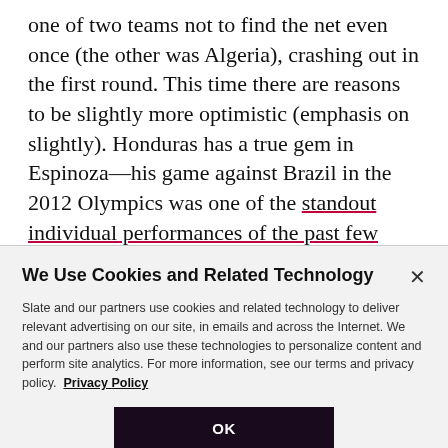one of two teams not to find the net even once (the other was Algeria), crashing out in the first round. This time there are reasons to be slightly more optimistic (emphasis on slightly). Honduras has a true gem in Espinoza—his game against Brazil in the 2012 Olympics was one of the standout individual performances of the past few years. La Bicolor also had one the globe's top-scoring players in qualification: Jerry Bengtson, of MLS's
We Use Cookies and Related Technology
Slate and our partners use cookies and related technology to deliver relevant advertising on our site, in emails and across the Internet. We and our partners also use these technologies to personalize content and perform site analytics. For more information, see our terms and privacy policy. Privacy Policy
OK